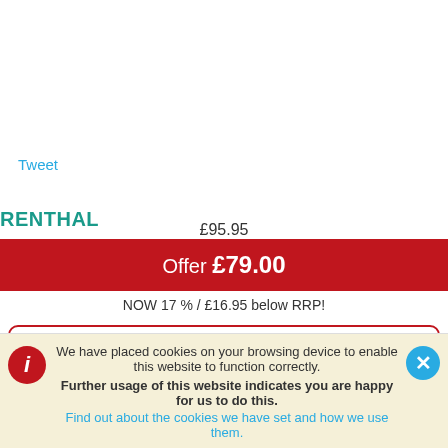Tweet
RENTHAL
£95.95
Offer £79.00
NOW 17 % / £16.95 below RRP!
Stock available (At supplier)
1
We have placed cookies on your browsing device to enable this website to function correctly. Further usage of this website indicates you are happy for us to do this. Find out about the cookies we have set and how we use them.